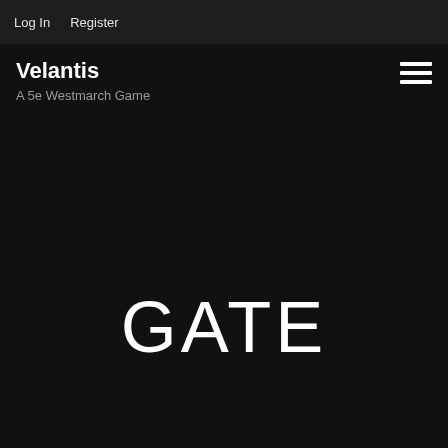Log In   Register
Velantis
A 5e Westmarch Game
GATE